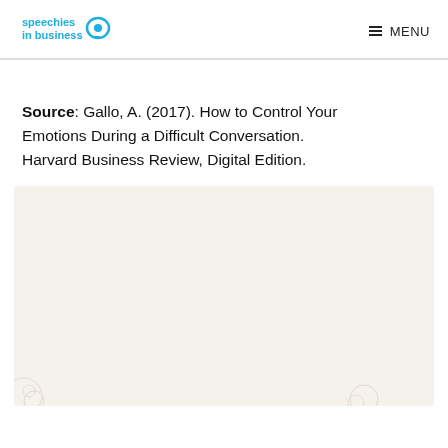speechies in business | MENU
Source: Gallo, A. (2017). How to Control Your Emotions During a Difficult Conversation. Harvard Business Review, Digital Edition.
[Figure (infographic): Infographic titled 'Difficult professional conversations:' with subtitle text about SLPs in private practice and fight or flight response, and two hexagon tip cards: 'Breathe' and 'Move', with a decorative illustration of a person sitting with plants.]